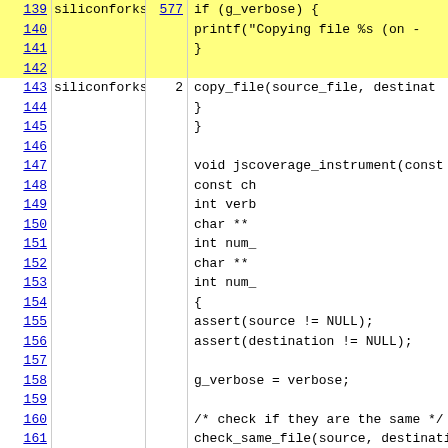| Line | Author | Count | Code |
| --- | --- | --- | --- |
| 139 | siliconforks | 577 |         if (g_verbose) { |
| 140 |  |  |             printf("Copying file %s (on - |
| 141 |  |  |         } |
| 142 |  |  |  |
| 143 | siliconforks | 2 |         copy_file(source_file, destinat |
| 144 |  |  |     } |
| 145 |  |  | } |
| 146 |  |  |  |
| 147 |  |  | void jscoverage_instrument(const ch |
| 148 |  |  |                                     const ch |
| 149 |  |  |                                     int verb |
| 150 |  |  |                                     char ** |
| 151 |  |  |                                     int num_ |
| 152 |  |  |                                     char ** |
| 153 |  |  |                                     int num_ |
| 154 |  |  | { |
| 155 |  |  |     assert(source != NULL); |
| 156 |  |  |     assert(destination != NULL); |
| 157 |  |  |  |
| 158 |  |  |     g_verbose = verbose; |
| 159 |  |  |  |
| 160 |  |  |     /* check if they are the same */ |
| 161 |  |  |     check_same_file(source, destinati |